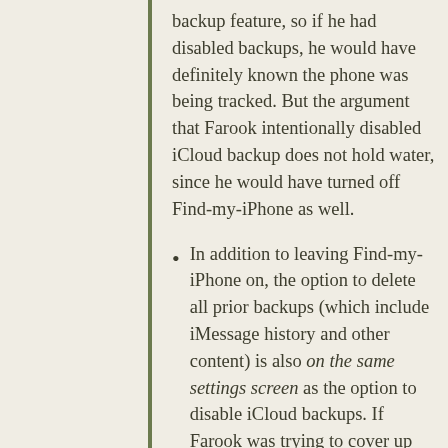backup feature, so if he had disabled backups, he would have definitely known the phone was being tracked. But the argument that Farook intentionally disabled iCloud backup does not hold water, since he would have turned off Find-my-iPhone as well.
In addition to leaving Find-my-iPhone on, the option to delete all prior backups (which include iMessage history and other content) is also on the same settings screen as the option to disable iCloud backups. If Farook was trying to cover up evidence of leads, he would have also deleted the existing backups that were